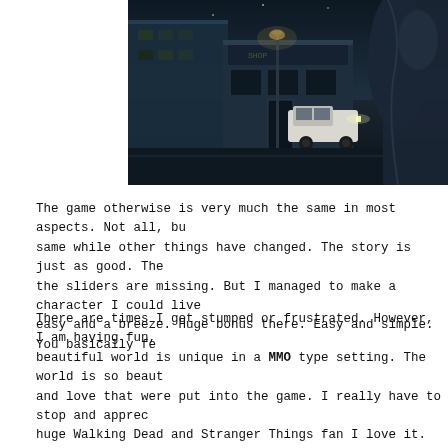[Figure (screenshot): Video game screenshot showing a dark urban nighttime street scene with a character in the foreground, a white pickup truck, street lamp, and buildings in the background]
The game otherwise is very much the same in most aspects. Not all, bu same while other things have changed. The story is just as good. The the sliders are missing. But I managed to make a character I could live easy and a breeze. Huge bonus there. Easy and simple. You basically fe
There are times I get stumped or frustrated. However, I am having fun, beautiful world is unique in a MMO type setting. The world is so beaut and love that were put into the game. I really have to stop and apprec huge Walking Dead and Stranger Things fan I love it. It is probably the Nightvale, heh. Why didn't I love it before? I did, but something didn't c of art, I have so much appreciation for every little detail. I have read a to think of how the setting is part of the story that was tailored fo